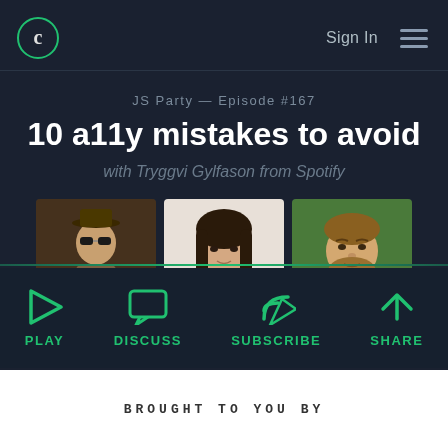Sign In
JS Party — Episode #167
10 a11y mistakes to avoid
with Tryggvi Gylfason from Spotify
[Figure (photo): Three profile photos of podcast hosts/guests side by side]
PLAY  DISCUSS  SUBSCRIBE  SHARE
BROUGHT TO YOU BY